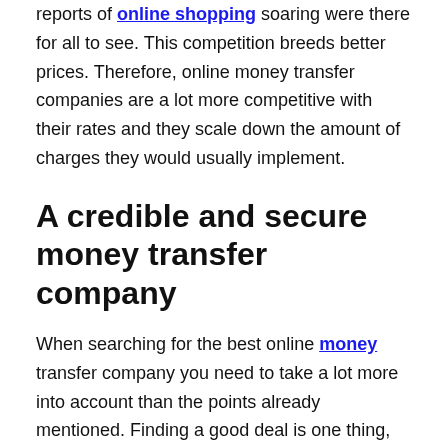reports of online shopping soaring were there for all to see. This competition breeds better prices. Therefore, online money transfer companies are a lot more competitive with their rates and they scale down the amount of charges they would usually implement.
A credible and secure money transfer company
When searching for the best online money transfer company you need to take a lot more into account than the points already mentioned. Finding a good deal is one thing, but you need to make sure that the website is genuine and that the company is credible. After all, the last thing